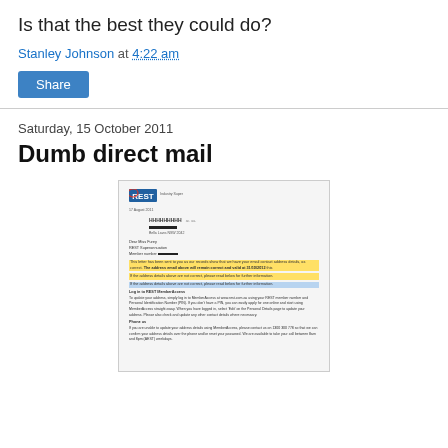Is that the best they could do?
Stanley Johnson at 4:22 am
Share
Saturday, 15 October 2011
Dumb direct mail
[Figure (photo): Photograph of a REST Industry Super letter with recipient address partially redacted, dated 17 August 2011. The letter contains highlighted yellow and blue text sections, with instructions for logging into REST MemberAccess and a phone contact section.]